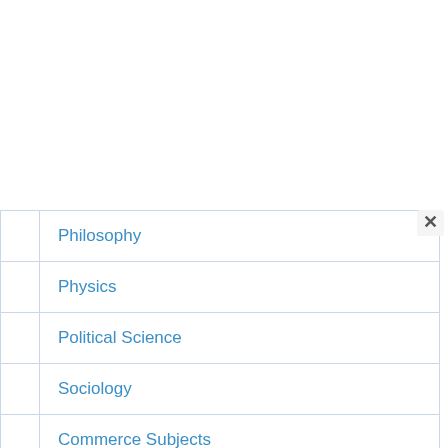| Philosophy |
| Physics |
| Political Science |
| Sociology |
| Commerce Subjects
(ACCT,BSTD,CLPA,CSTX) |
| Mathematics |